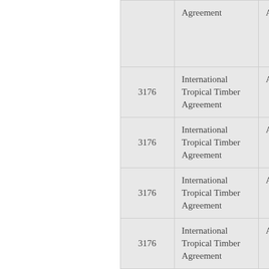|  | No. | Treaty Name | Art. |
| --- | --- | --- | --- |
|  |  | Agreement | Art. |
|  | 3176 | International Tropical Timber Agreement | Art. |
|  | 3176 | International Tropical Timber Agreement | Art. |
|  | 3176 | International Tropical Timber Agreement | Art. |
|  | 3176 | International Tropical Timber Agreement | Art. |
|  | 3176 | International Tropical Timber Agreement | Art. |
|  | 3176 | International Tropical Timber Agreement | Art. |
|  | 3176 | International Tropical Timber Agreement | Art. |